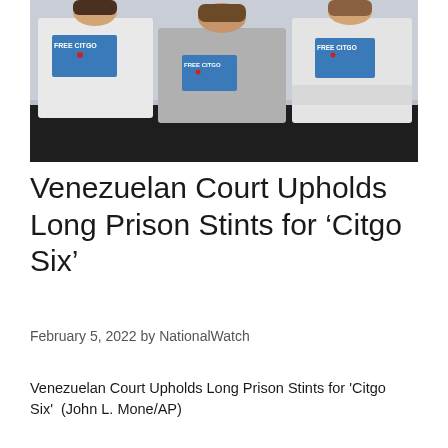[Figure (photo): Three women wearing 'FREE CITGO' t-shirts and sweatshirts, posing together. The shirts feature a blue map of the United States with a red marker dot. Photo credit: John L. Mone/AP]
Venezuelan Court Upholds Long Prison Stints for ‘Citgo Six’
February 5, 2022 by NationalWatch
Venezuelan Court Upholds Long Prison Stints for 'Citgo Six'  (John L. Mone/AP)